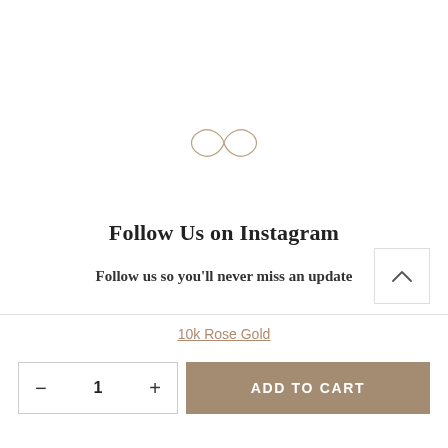[Figure (illustration): An infinity symbol drawn in a thin, delicate line in a tan/golden color, centered on the page.]
Follow Us on Instagram
Follow us so you'll never miss an update
10k Rose Gold
- 1 + ADD TO CART